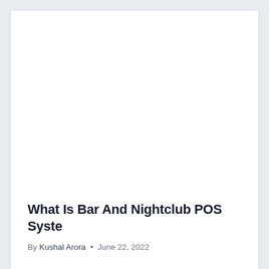[Figure (photo): Large image placeholder area at the top of the article card (white/blank area)]
What Is Bar And Nightclub POS Syste
By Kushal Arora • June 22, 2022